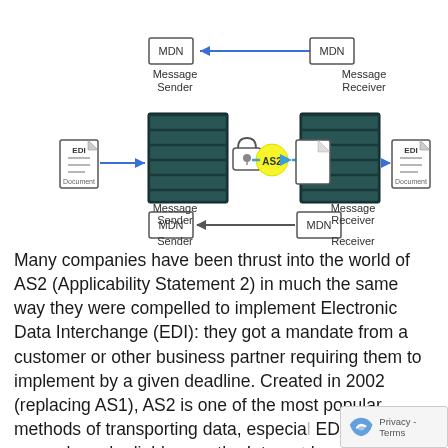[Figure (engineering-diagram): Network diagram showing AS2 message transmission between Message Sender and Message Receiver. Shows server stacks on both sides with EDI document icons, a lock icon, AS2 labeled arrow going right, document icons, and MDN arrows going left. Bottom portion shows second similar diagram with MDN arrows.]
Many companies have been thrust into the world of AS2 (Applicability Statement 2) in much the same way they were compelled to implement Electronic Data Interchange (EDI): they got a mandate from a customer or other business partner requiring them to implement by a given deadline. Created in 2002 (replacing AS1), AS2 is one of the most popular methods of transporting data, especially EDI data, securely and reliably over the Internet. It has grown rapidly due to requirements from major